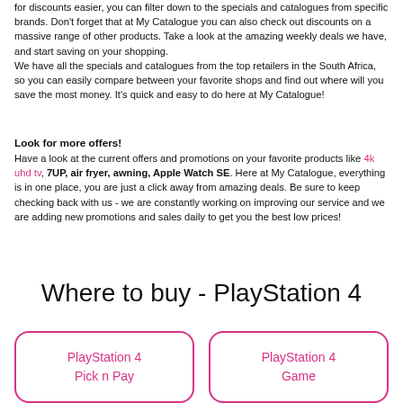for discounts easier, you can filter down to the specials and catalogues from specific brands. Don't forget that at My Catalogue you can also check out discounts on a massive range of other products. Take a look at the amazing weekly deals we have, and start saving on your shopping.
We have all the specials and catalogues from the top retailers in the South Africa, so you can easily compare between your favorite shops and find out where will you save the most money. It's quick and easy to do here at My Catalogue!
Look for more offers!
Have a look at the current offers and promotions on your favorite products like 4k uhd tv, 7UP, air fryer, awning, Apple Watch SE. Here at My Catalogue, everything is in one place, you are just a click away from amazing deals. Be sure to keep checking back with us - we are constantly working on improving our service and we are adding new promotions and sales daily to get you the best low prices!
Where to buy - PlayStation 4
[Figure (other): Two rounded cards side by side: 'PlayStation 4 Pick n Pay' and 'PlayStation 4 Game', both with pink borders and pink text.]